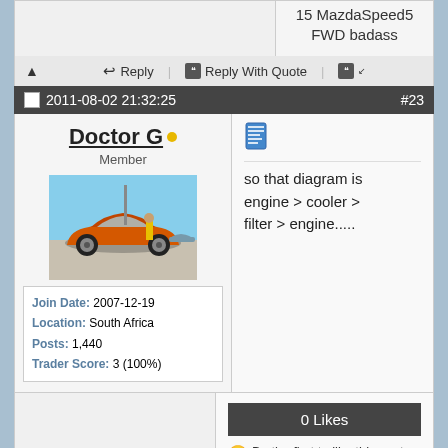15 MazdaSpeed5 FWD badass
Reply | Reply With Quote
2011-08-02 21:32:25  #23
Doctor G
Member
[Figure (photo): Avatar image of an orange sports car (Nissan 350Z) with a woman in yellow dress standing beside it, blue sky background]
Join Date: 2007-12-19
Location: South Africa
Posts: 1,440
Trader Score: 3 (100%)
so that diagram is engine > cooler > filter > engine.....
0 Likes
Be the first to like this post.
'93 Sentra - Full build thread here:
http://www.nissanownersclub.co